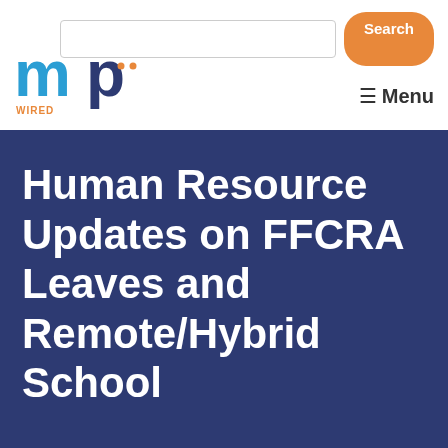[Figure (logo): MP Wired for HR logo - blue and orange letters]
Search | Menu
Human Resource Updates on FFCRA Leaves and Remote/Hybrid School